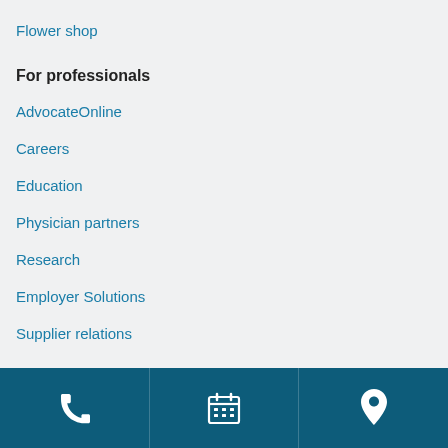Flower shop
For professionals
AdvocateOnline
Careers
Education
Physician partners
Research
Employer Solutions
Supplier relations
Phone | Calendar | Location icons